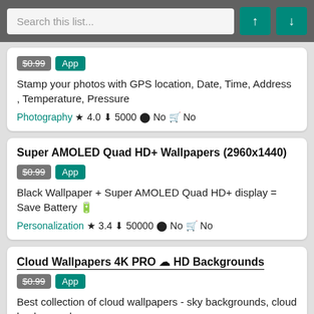Search this list...
$0.99 App
Stamp your photos with GPS location, Date, Time, Address , Temperature, Pressure
Photography ★ 4.0 ⬇ 5000 ⬤ No 🛒 No
Super AMOLED Quad HD+ Wallpapers (2960x1440)
$0.99 App
Black Wallpaper + Super AMOLED Quad HD+ display = Save Battery 🔋
Personalization ★ 3.4 ⬇ 50000 ⬤ No 🛒 No
Cloud Wallpapers 4K PRO ☁ HD Backgrounds
$0.99 App
Best collection of cloud wallpapers - sky backgrounds, cloud backgrounds
Personalization ★ 4.1 ⬇ 5000 ⬤ No 🛒 No